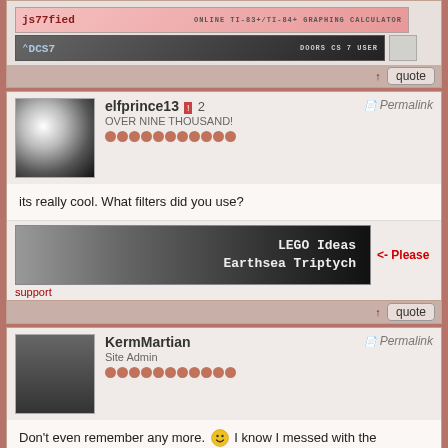[Figure (screenshot): Forum post signatures with js7ified and DCS7 banners]
↑  quote
elfprince13 ❗ 2 — OVER NINE THOUSAND!
Permalink
its really cool. What filters did you use?
[Figure (illustration): LEGO Ideas Earthsea Triptych banner with <- Please support text]
↑  quote
KermMartian — Site Admin
Permalink
Don't even remember any more. 🙂 I know I messed with the perspective tool at the end, and perhaps some wave and color filters.
[Figure (screenshot): js7ified and DCS7 signature banners]
↑  quote
Liazon — Advanced Member
Permalink